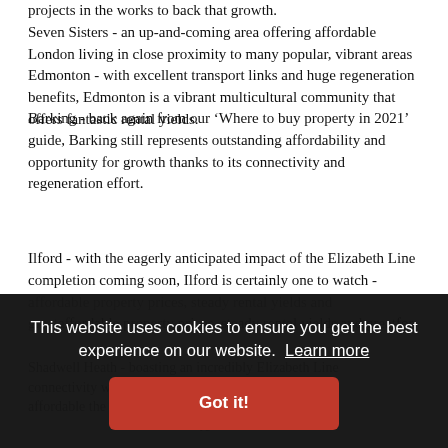projects in the works to back that growth. Seven Sisters - an up-and-coming area offering affordable London living in close proximity to many popular, vibrant areas Edmonton - with excellent transport links and huge regeneration benefits, Edmonton is a vibrant multicultural community that offers fantastic rental yields.
Barking - back again from our ‘Where to buy property in 2021’ guide, Barking still represents outstanding affordability and opportunity for growth thanks to its connectivity and regeneration effort.
Ilford - with the eagerly anticipated impact of the Elizabeth Line completion coming soon, Ilford is certainly one to watch - affordable property prices, steady rental yields and great for
Shadwell Heath - boasting an incredibly Elizabeth Line connectivity with restaurants, retail, all leisure affordable the ... well ... re
This website uses cookies to ensure you get the best experience on our website. Learn more
Got it!